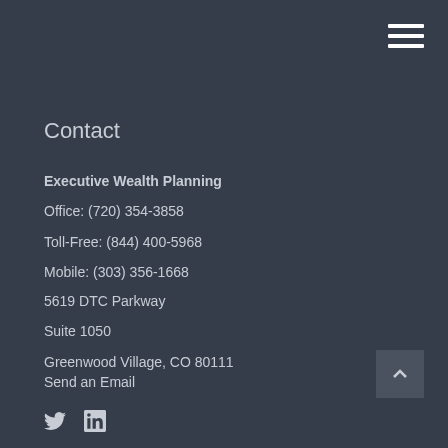[Figure (other): Hamburger menu icon (three white horizontal lines) in top-right corner]
Contact
Executive Wealth Planning
Office: (720) 354-3858
Toll-Free: (844) 400-5968
Mobile: (303) 356-1668
5619 DTC Parkway
Suite 1050
Greenwood Village, CO 80111
Send an Email
[Figure (other): Back to top button with upward chevron arrow in bottom-right corner]
[Figure (other): Twitter bird icon and LinkedIn 'in' icon in bottom-left corner]